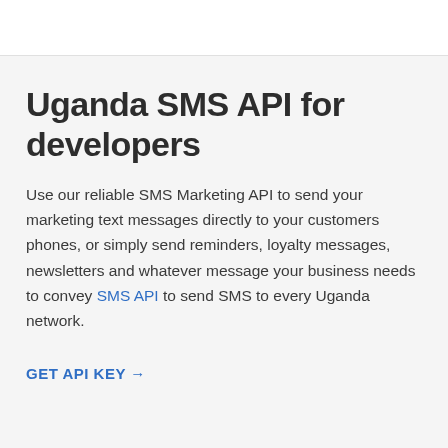Uganda SMS API for developers
Use our reliable SMS Marketing API to send your marketing text messages directly to your customers phones, or simply send reminders, loyalty messages, newsletters and whatever message your business needs to convey SMS API to send SMS to every Uganda network.
GET API KEY →